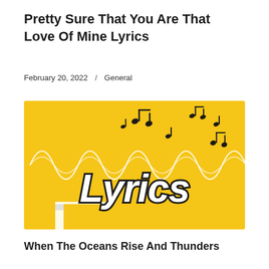Pretty Sure That You Are That Love Of Mine Lyrics
February 20, 2022  /  General
[Figure (illustration): Yellow background illustration with musical notes, a white wave/sound wave line, a white pencil drawing, and bold black-and-white hand-lettered text reading 'Lyrics']
When The Oceans Rise And Thunders